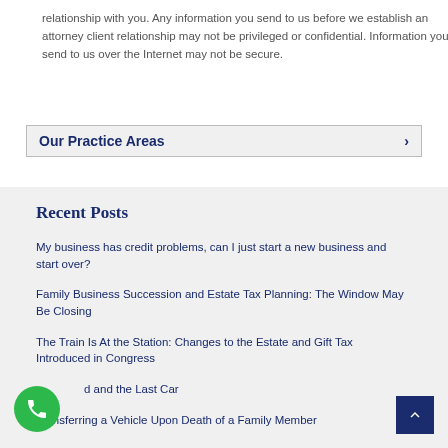relationship with you. Any information you send to us before we establish an attorney client relationship may not be privileged or confidential. Information you send to us over the Internet may not be secure.
Our Practice Areas ›
Recent Posts
My business has credit problems, can I just start a new business and start over?
Family Business Succession and Estate Tax Planning: The Window May Be Closing
The Train Is At the Station: Changes to the Estate and Gift Tax Introduced in Congress
…d and the Last Car
Transferring a Vehicle Upon Death of a Family Member